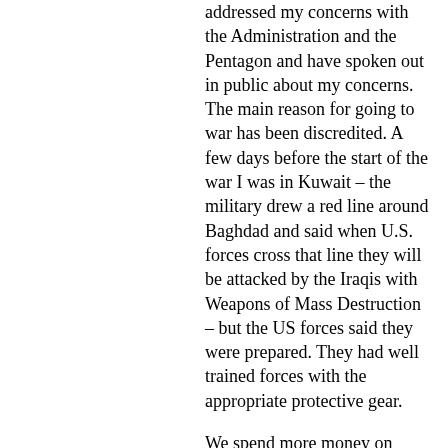addressed my concerns with the Administration and the Pentagon and have spoken out in public about my concerns. The main reason for going to war has been discredited. A few days before the start of the war I was in Kuwait – the military drew a red line around Baghdad and said when U.S. forces cross that line they will be attacked by the Iraqis with Weapons of Mass Destruction – but the US forces said they were prepared. They had well trained forces with the appropriate protective gear.
We spend more money on Intelligence than all the countries in the world together, and more on Intelligence than most countries GDP. But the intelligence concerning Iraq was wrong. It is not a world intelligence failure. It is a U.S. intelligence failure and the way that intelligence was misused.
I have been visiting our wounded troops at Bethesda and Walter Reed hospitals almost every week since the beginning of the War. And what demoralizes them is